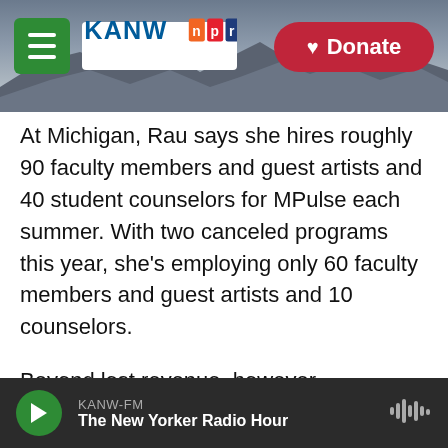[Figure (screenshot): KANW NPR website header with mountain landscape background, green hamburger menu button, KANW NPR logo, and red Donate button]
At Michigan, Rau says she hires roughly 90 faculty members and guest artists and 40 student counselors for MPulse each summer. With two canceled programs this year, she's employing only 60 faculty members and guest artists and 10 counselors.
Beyond lost revenue, however, Marsicano says there are other issues at stake here: "I'm more concerned about the equity implications for those students who would not normally have an opportunity to spend any time on a college campus,
KANW-FM
The New Yorker Radio Hour